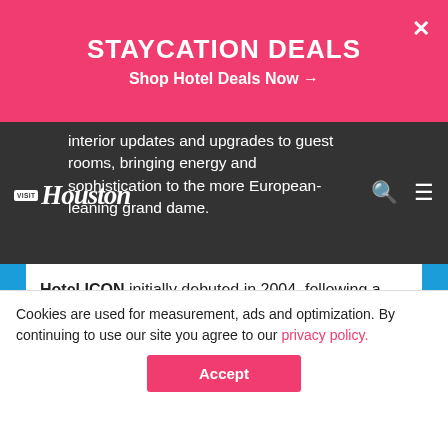STAYCATION DEALS
Shop Hotel Deals Now →
interior updates and upgrades to guest rooms, bringing energy and sophistication to the more European-leaning grand dame.
Hotel ICON initially debuted in 2004, following a $35-million, two-year repurposing and painstaking refurbishment of the 1912 Union National Bank building, which had remained vacant and in a state of near disrepair for more than two decades prior. One of the earl ... the ... cal
[Figure (screenshot): Ad popup: ENJOY STYLE & LOCATION - Book Royal Sonesta Houston Galleria]
Cookies are used for measurement, ads and optimization. By continuing to use our site you agree to our privacy policy.